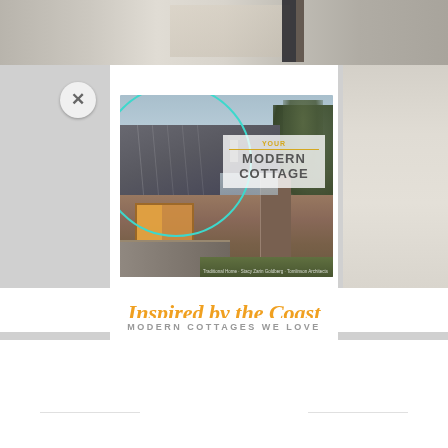[Figure (screenshot): Screenshot of a website/app modal overlay showing a book cover for 'Your Modern Cottage' with a coastal cottage photo, teal circle overlay graphic, and the text 'Inspired by the Coast / MODERN COTTAGES WE LOVE'. A close (X) button appears in the upper left of the modal. The background shows a partially visible room interior photo.]
Inspired by the Coast
MODERN COTTAGES WE LOVE